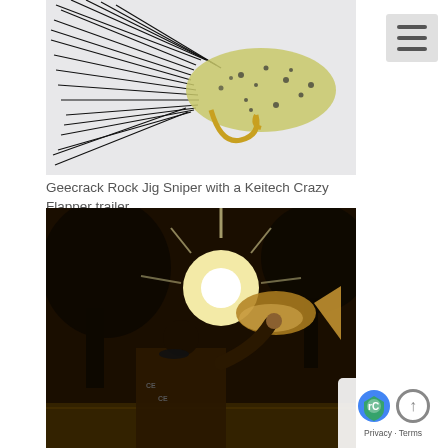[Figure (photo): Close-up photo of a Geecrack Rock Jig Sniper fishing lure with a Keitech Crazy Flapper trailer, showing a green-yellow speckled soft plastic bait with black rubber skirt strands on a white background.]
Geecrack Rock Jig Sniper with a Keitech Crazy Flapper trailer
[Figure (photo): Outdoor photo of a person holding up a large bass fish by the tail against a bright sun flare with trees and water in the background. The person is wearing a cycling/fishing jersey.]